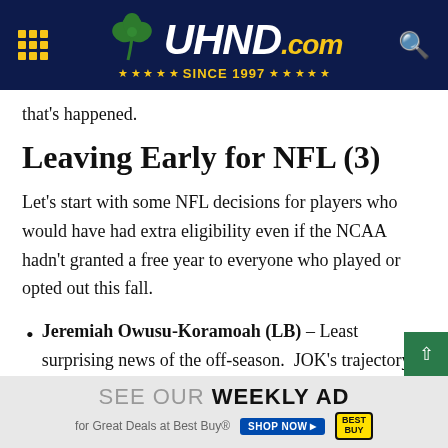[Figure (logo): UHND.com website header with shamrock logo, navigation grid icon, and search icon on dark navy background. Text reads UHND.COM with SINCE 1997 in gold stars.]
that's happened.
Leaving Early for NFL (3)
Let's start with some NFL decisions for players who would have had extra eligibility even if the NCAA hadn't granted a free year to everyone who played or opted out this fall.
Jeremiah Owusu-Koramoah (LB) – Least surprising news of the off-season. JOK's trajectory pointed to the NFL ever since his
[Figure (screenshot): Best Buy advertisement banner: SEE OUR WEEKLY AD for Great Deals at Best Buy with SHOP NOW button and Best Buy logo]